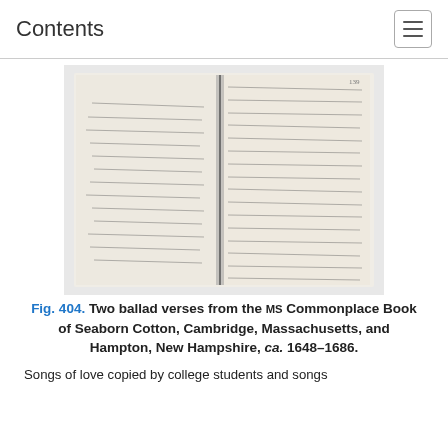Contents
[Figure (photo): An open manuscript book showing two pages of handwritten text in old script, photographed in black and white. The pages contain ballad verses in cursive handwriting from the 17th century.]
Fig. 404. Two ballad verses from the MS Commonplace Book of Seaborn Cotton, Cambridge, Massachusetts, and Hampton, New Hampshire, ca. 1648–1686.
Songs of love copied by college students and songs